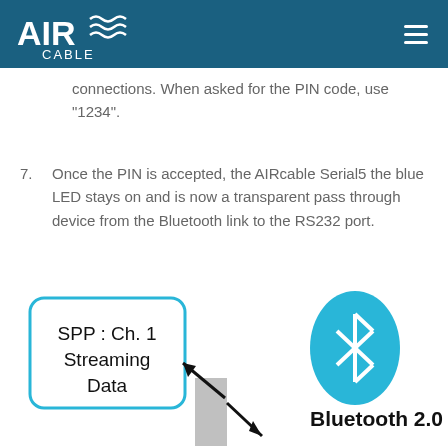AIRcable
connections. When asked for the PIN code, use "1234".
7. Once the PIN is accepted, the AIRcable Serial5 the blue LED stays on and is now a transparent pass through device from the Bluetooth link to the RS232 port.
[Figure (infographic): Diagram showing SPP: Ch. 1 Streaming Data box connected with arrows to a Bluetooth 2.0 logo (blue oval with Bluetooth symbol)]